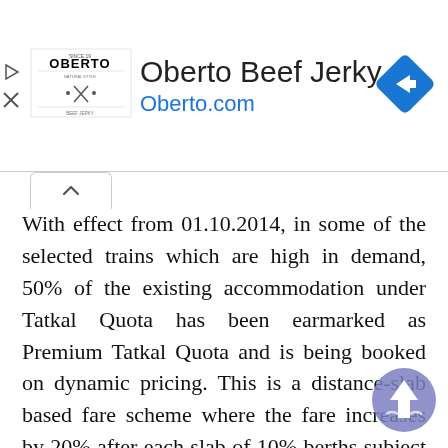[Figure (screenshot): Advertisement banner for Oberto Beef Jerky with logo, title, URL, and navigation icon]
With effect from 01.10.2014, in some of the selected trains which are high in demand, 50% of the existing accommodation under Tatkal Quota has been earmarked as Premium Tatkal Quota and is being booked on dynamic pricing. This is a distance-slab based fare scheme where the fare increases by 20% after each slab of 10% berths subject to maximum three times of tatkal fare. Further w.e.f 09.09.2016, flexi fare system has been introduced in Rajdhani, Duronto and Shatabdi trains. Under this system, the base fare